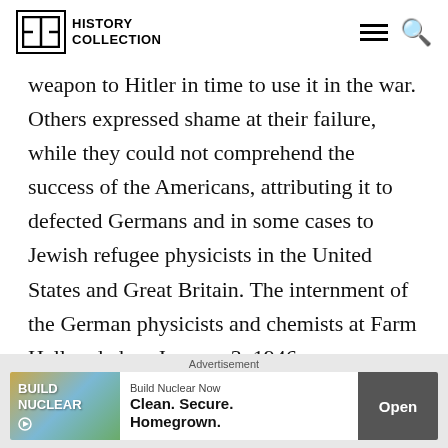History Collection
weapon to Hitler in time to use it in the war. Others expressed shame at their failure, while they could not comprehend the success of the Americans, attributing it to defected Germans and in some cases to Jewish refugee physicists in the United States and Great Britain. The internment of the German physicists and chemists at Farm Hall ended on January 3, 1946,
Advertisement
Build Nuclear Now — Clean. Secure. Homegrown. Open